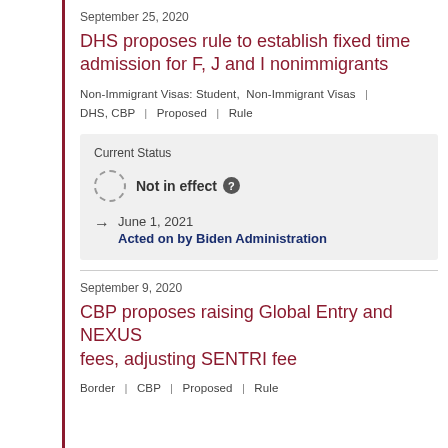September 25, 2020
DHS proposes rule to establish fixed time admission for F, J and I nonimmigrants
Non-Immigrant Visas: Student, Non-Immigrant Visas | DHS, CBP | Proposed | Rule
Current Status
Not in effect
June 1, 2021 Acted on by Biden Administration
September 9, 2020
CBP proposes raising Global Entry and NEXUS fees, adjusting SENTRI fee
Border | CBP | Proposed | Rule